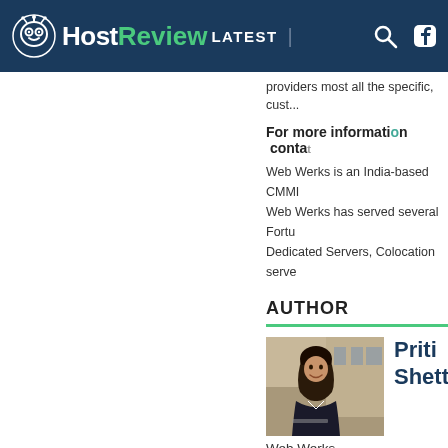HostReview LATEST
providers most all the specific, cust...
For more information conta...
Web Werks is an India-based CMMI... Web Werks has served several Fortu... Dedicated Servers, Colocation serve...
AUTHOR
[Figure (photo): Photo of Priti Shetti, a woman with long dark hair, smiling, outdoors near a building]
Priti Shetti
Web Werks Data Centers
Online marketing head
View Priti Shetti`s profile for more
LEAVE A COMMENT